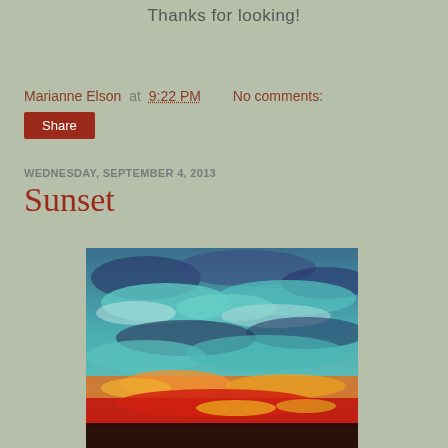Thanks for looking!
Marianne Elson at 9:22 PM   No comments:
Share
WEDNESDAY, SEPTEMBER 4, 2013
Sunset
[Figure (illustration): Oil painting of a colorful sunset sky with dramatic clouds in shades of teal, blue, orange, red, and yellow over a dark horizon.]